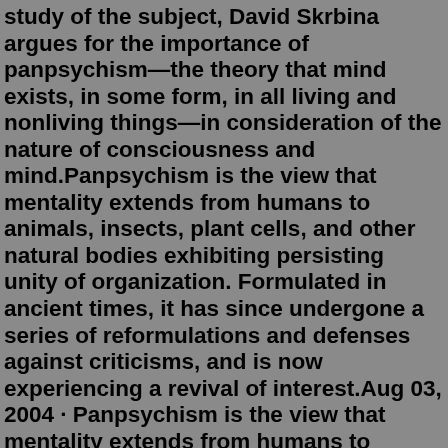study of the subject, David Skrbina argues for the importance of panpsychism—the theory that mind exists, in some form, in all living and nonliving things—in consideration of the nature of consciousness and mind.Panpsychism is the view that mentality extends from humans to animals, insects, plant cells, and other natural bodies exhibiting persisting unity of organization. Formulated in ancient times, it has since undergone a series of reformulations and defenses against criticisms, and is now experiencing a revival of interest.Aug 03, 2004 · Panpsychism is the view that mentality extends from humans to animals, insects, plant cells, and other natural bodies exhibiting persisting unity of organization. Formulated in ancient times, it has since undergone a series of reformulations and defenses against criticisms, and is now experiencing a revival of interest. This book features contemporary arguments for panpsychism as a genuine alternative in analytic philosophy of mind in the 21st century. Different varieties of panpsychism are represented and systematically related to each